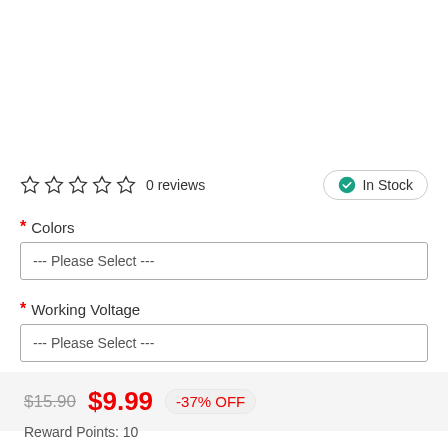☆ ☆ ☆ ☆ ☆ 0 reviews
✓ In Stock
* Colors
--- Please Select ---
* Working Voltage
--- Please Select ---
$15.90  $9.99  -37% OFF
Reward Points: 10